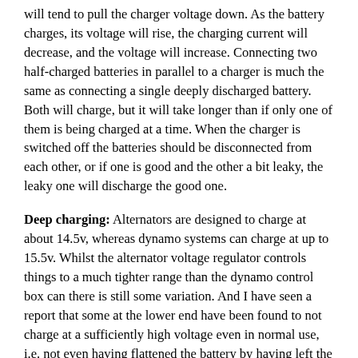will tend to pull the charger voltage down. As the battery charges, its voltage will rise, the charging current will decrease, and the voltage will increase. Connecting two half-charged batteries in parallel to a charger is much the same as connecting a single deeply discharged battery. Both will charge, but it will take longer than if only one of them is being charged at a time. When the charger is switched off the batteries should be disconnected from each other, or if one is good and the other a bit leaky, the leaky one will discharge the good one.
Deep charging: Alternators are designed to charge at about 14.5v, whereas dynamo systems can charge at up to 15.5v. Whilst the alternator voltage regulator controls things to a much tighter range than the dynamo control box can there is still some variation. And I have seen a report that some at the lower end have been found to not charge at a sufficiently high voltage even in normal use, i.e. not even having flattened the battery by having left the lights on, for